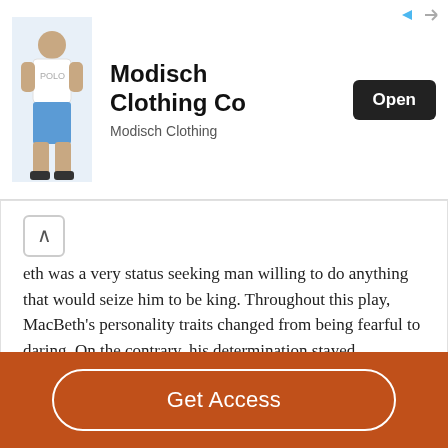[Figure (photo): Advertisement banner for Modisch Clothing Co showing a person wearing blue shorts and a white t-shirt, with an Open button]
eth was a very status seeking man willing to do anything that would seize him to be king. Throughout this play, MacBeth's personality traits changed from being fearful to daring. On the contrary, his determination stayed…
Read More
Decent Essays
Macbeth's Ambition And Evil
Get Access